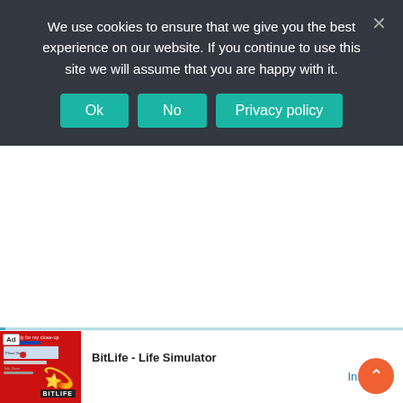We use cookies to ensure that we give you the best experience on our website. If you continue to use this site we will assume that you are happy with it.
[Figure (screenshot): Cookie consent banner with Ok, No, and Privacy policy buttons on a dark background, overlaid on a webpage showing a light blue section and an advertisement for BitLife - Life Simulator at the bottom.]